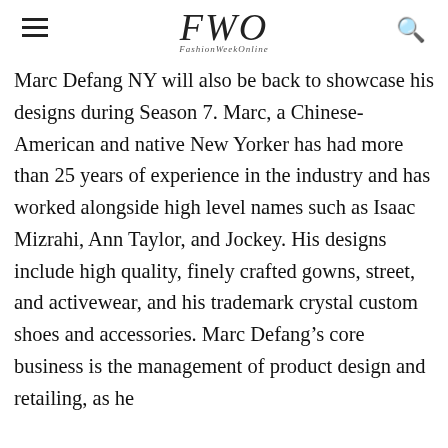FWO FashionWeekOnline
Marc Defang NY will also be back to showcase his designs during Season 7. Marc, a Chinese-American and native New Yorker has had more than 25 years of experience in the industry and has worked alongside high level names such as Isaac Mizrahi, Ann Taylor, and Jockey. His designs include high quality, finely crafted gowns, street, and activewear, and his trademark crystal custom shoes and accessories. Marc Defang's core business is the management of product design and retailing, as he